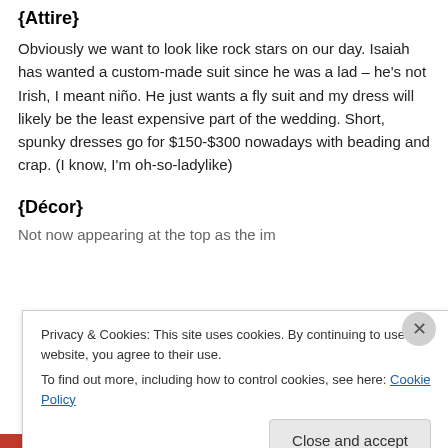{Attire}
Obviously we want to look like rock stars on our day. Isaiah has wanted a custom-made suit since he was a lad – he's not Irish, I meant niño. He just wants a fly suit and my dress will likely be the least expensive part of the wedding. Short, spunky dresses go for $150-$300 nowadays with beading and crap. (I know, I'm oh-so-ladylike)
{Décor}
Not now appearing at the top as the image has been cut off by cookie banner.
Privacy & Cookies: This site uses cookies. By continuing to use this website, you agree to their use.
To find out more, including how to control cookies, see here: Cookie Policy
Close and accept